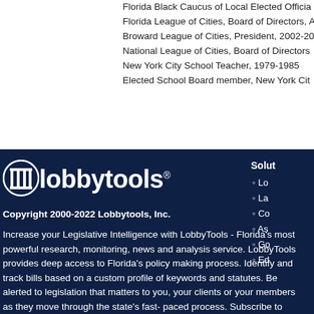Florida Black Caucus of Local Elected Officials
Florida League of Cities, Board of Directors,
Broward League of Cities, President, 2002-20
National League of Cities, Board of Directors
New York City School Teacher, 1979-1985
Elected School Board member, New York Cit
[Figure (logo): LobbyTools logo: white column icon with 'lobbytools' wordmark and registered trademark symbol]
Copyright 2000-2022 Lobbytools, Inc.
Increase your Legislative Intelligence with LobbyTools - Florida's most powerful research, monitoring, news and analysis service. LobbyTools provides deep access to Florida's policy making process. Identify and track bills based on a custom profile of keywords and statutes. Be alerted to legislation that matters to you, your clients or your members as they move through the state's fast-paced process. Subscribe to LobbyTools today and discover the secret of Florida's most influential and demanding legislative participants.
Solutions
Lo
La
Co
As
Go
Ed